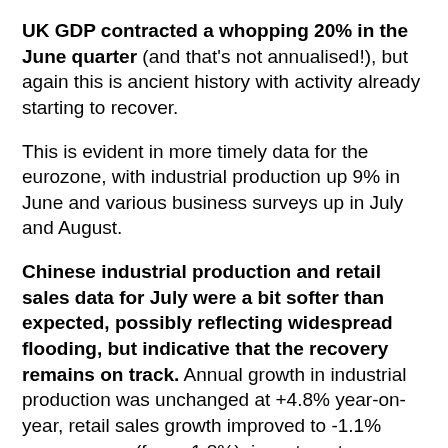UK GDP contracted a whopping 20% in the June quarter (and that's not annualised!), but again this is ancient history with activity already starting to recover.
This is evident in more timely data for the eurozone, with industrial production up 9% in June and various business surveys up in July and August.
Chinese industrial production and retail sales data for July were a bit softer than expected, possibly reflecting widespread flooding, but indicative that the recovery remains on track. Annual growth in industrial production was unchanged at +4.8% year-on-year, retail sales growth improved to -1.1% year-on-year (from -1.8%), investment rose +6.1% year-on-year (up from +4.1%), unemployment was flat and new home prices continue to rise. Meanwhile, most high frequency data for August (for car sales,